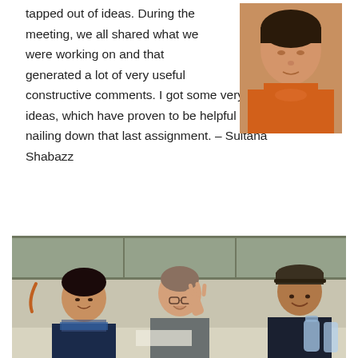tapped out of ideas. During the meeting, we all shared what we were working on and that generated a lot of very useful constructive comments. I got some very good ideas, which have proven to be helpful in finally nailing down that last assignment. – Sultana Shabazz
[Figure (photo): Portrait photo of a woman in an orange top, cropped at head and shoulders]
[Figure (photo): Photo of three people sitting at a table in a classroom, smiling and engaged in discussion. One woman is gesturing with her hand raised.]